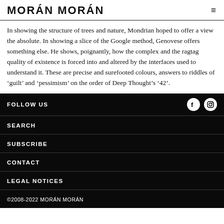MORÁN MORÁN
In showing the structure of trees and nature, Mondrian hoped to offer a view the absolute. In showing a slice of the Google method, Genovese offers something else. He shows, poignantly, how the complex and the ragtag quality of existence is forced into and altered by the interfaces used to understand it. These are precise and surefooted colours, answers to riddles of 'guilt' and 'pessimism' on the order of Deep Thought's '42'.
FOLLOW US
SEARCH
SUBSCRIBE
CONTACT
LEGAL NOTICES
©2008-2022 MORÁN MORÁN